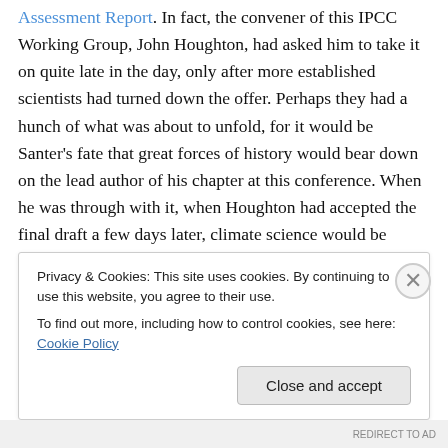Assessment Report. In fact, the convener of this IPCC Working Group, John Houghton, had asked him to take it on quite late in the day, only after more established scientists had turned down the offer. Perhaps they had a hunch of what was about to unfold, for it would be Santer's fate that great forces of history would bear down on the lead author of his chapter at this conference. When he was through with it, when Houghton had accepted the final draft a few days later, climate science would be changed forever. After a long struggle, the levees of science gave way to the overwhelming forces of politics welling up
Privacy & Cookies: This site uses cookies. By continuing to use this website, you agree to their use. To find out more, including how to control cookies, see here: Cookie Policy
REDIRECT TO AD